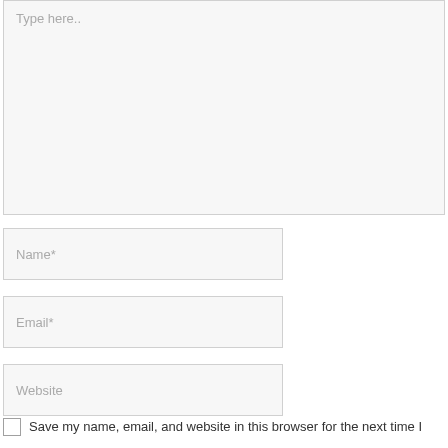Type here..
Name*
Email*
Website
Save my name, email, and website in this browser for the next time I